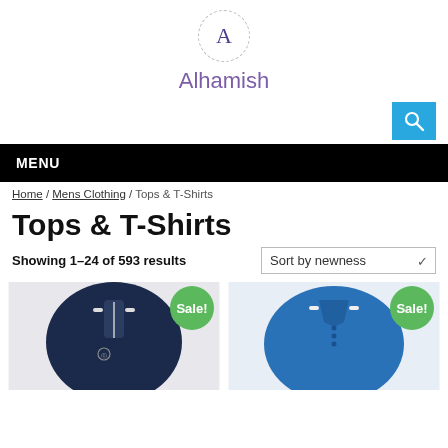A Alhamish
[Figure (logo): Alhamish logo: circle with letter A and dashed border, brand name 'Alhamish' in purple below]
[Figure (screenshot): Blue search button with magnifying glass icon]
MENU
Home / Mens Clothing / Tops & T-Shirts
Tops & T-Shirts
Showing 1–24 of 593 results
Sort by newness
[Figure (photo): Navy blue zip-up polo shirt with white tipped collar, with green Sale! badge]
[Figure (photo): Blue polo shirt with white tipped collar and buttons, with green Sale! badge]